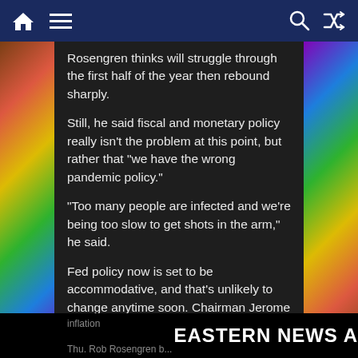Navigation bar with home, menu, search, and shuffle icons
Rosengren thinks will struggle through the first half of the year then rebound sharply.
Still, he said fiscal and monetary policy really isn’t the problem at this point, but rather that “we have the wrong pandemic policy.”
“Too many people are infected and we’re being too slow to get shots in the arm,” he said.
Fed policy now is set to be accommodative, and that’s unlikely to change anytime soon. Chairman Jerome Powell on Thursday reiterated his belief that interest rate increases or changes to the central bank’s asset purchase program are coming anytime soon as the Fed seeks to meet its goals on employment and
inflation
EASTERN NEWS A
Thu. Rob Rosengren b...